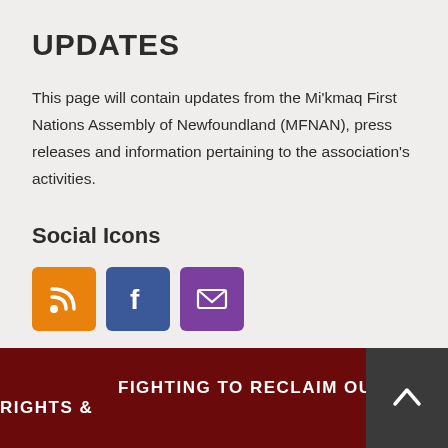UPDATES
This page will contain updates from the Miʼkmaq First Nations Assembly of Newfoundland (MFNAN), press releases and information pertaining to the association’s activities.
Social Icons
[Figure (infographic): Three social media icon buttons: RSS (orange), Facebook (blue), Email (purple)]
FIGHTING TO RECLAIM OUR RIGHTS &